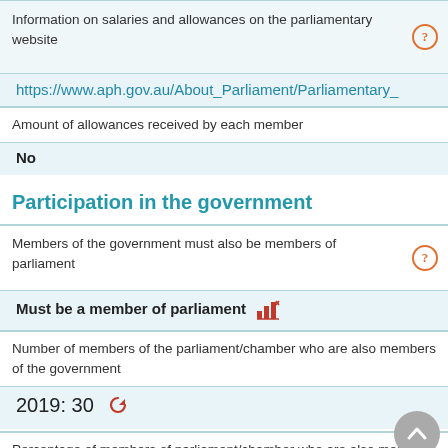Information on salaries and allowances on the parliamentary website
https://www.aph.gov.au/About_Parliament/Parliamentary_
Amount of allowances received by each member
No
Participation in the government
Members of the government must also be members of parliament
Must be a member of parliament
Number of members of the parliament/chamber who are also members of the government
2019: 30
Percentage of members of parliament/chamber who are also members of the government
19.87%